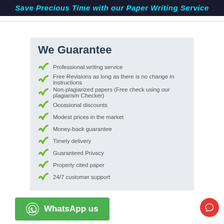Save Precious Time with our Paper Writing Service
We Guarantee
Professional writing service
Free Revisions as long as there is no change in instructions
Non-plagiarized papers (Free check using our plagiarism Checker)
Occasional discounts
Modest prices in the market
Money-back guarantee
Timely delivery
Guaranteed Privacy
Properly cited paper
24/7 customer support
WhatsApp us
12 point Times New Roman;